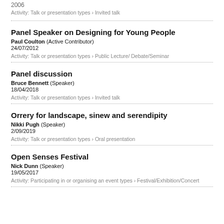2006
Activity: Talk or presentation types › Invited talk
Panel Speaker on Designing for Young People
Paul Coulton (Active Contributor)
24/07/2012
Activity: Talk or presentation types › Public Lecture/ Debate/Seminar
Panel discussion
Bruce Bennett (Speaker)
18/04/2018
Activity: Talk or presentation types › Invited talk
Orrery for landscape, sinew and serendipity
Nikki Pugh (Speaker)
2/09/2019
Activity: Talk or presentation types › Oral presentation
Open Senses Festival
Nick Dunn (Speaker)
19/05/2017
Activity: Participating in or organising an event types › Festival/Exhibition/Concert